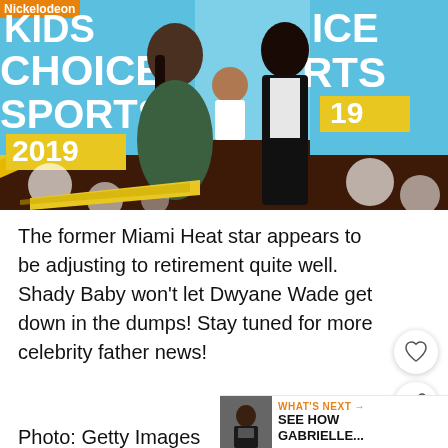[Figure (photo): Family photo at Nickelodeon Kids Choice Sports 2019 event. A woman in a green patterned dress holds a baby in white, standing next to a man in a black patterned blazer. Nickelodeon Kids Choice Sports 2019 signage visible in background.]
The former Miami Heat star appears to be adjusting to retirement quite well. Shady Baby won't let Dwyane Wade get down in the dumps! Stay tuned for more celebrity father news!
Photo: Getty Images
WHAT'S NEXT → SEE HOW GABRIELLE...